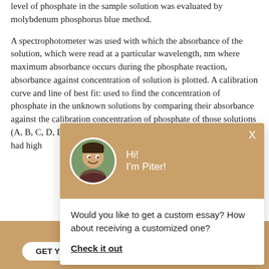level of phosphate in the sample solution was evaluated by molybdenum phosphorus blue method.

A spectrophotometer was used with which the absorbance of the solution, which were read at a particular wavelength, nm where maximum absorbance occurs during the phosphate reaction, absorbance against concentration of solution is plotted. A calibration curve and line of best fit: used to find the concentration of phosphate in the unknown solutions by comparing their absorbance against the calibration concentration of phosphate of those solutions (A, B, C, D, E) was displayed and it should be noted that A, B and E had high
[Figure (screenshot): Chat popup widget showing avatar of person named Piter with greeting 'Hi! I'm Piter!' and text 'Would you like to get a custom essay? How about receiving a customized one?' with a 'Check it out' link]
Haven't Found The Essay You Want?
GET YOUR CUSTOM ESSAY   For Only $13.90/page